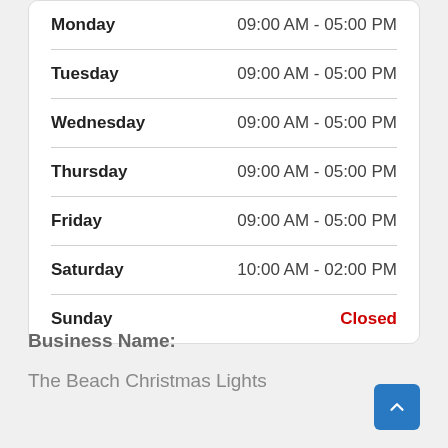| Day | Hours |
| --- | --- |
| Monday | 09:00 AM - 05:00 PM |
| Tuesday | 09:00 AM - 05:00 PM |
| Wednesday | 09:00 AM - 05:00 PM |
| Thursday | 09:00 AM - 05:00 PM |
| Friday | 09:00 AM - 05:00 PM |
| Saturday | 10:00 AM - 02:00 PM |
| Sunday | Closed |
Business Name:
The Beach Christmas Lights